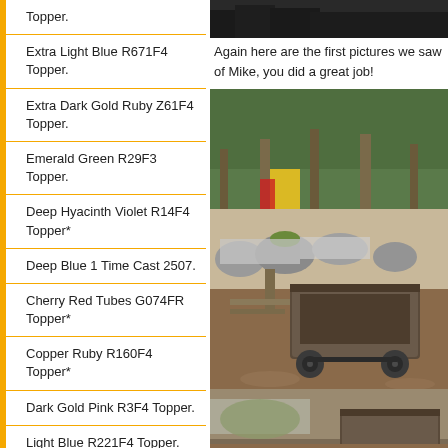Topper.
Extra Light Blue R671F4 Topper.
Extra Dark Gold Ruby Z61F4 Topper.
Emerald Green R29F3 Topper.
Deep Hyacinth Violet R14F4 Topper*
Deep Blue 1 Time Cast 2507.
Cherry Red Tubes G074FR Topper*
Copper Ruby R160F4 Topper*
Dark Gold Pink R3F4 Topper.
Light Blue R221F4 Topper.
Light Iris Gold R217F5
[Figure (photo): Top portion of outdoor scene with trees and play equipment, partially visible]
Again here are the first pictures we saw of Mike, you did a great job!
[Figure (photo): Outdoor scene with a rusty mining cart/ore cart on dirt ground, rocks and trees in background, colorful playground slide visible in distance]
[Figure (photo): Another outdoor scene showing rocks and possibly mining equipment, partially cut off at bottom]